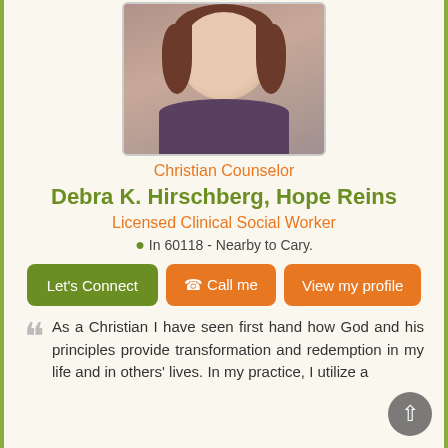[Figure (photo): Headshot photo of Debra K. Hirschberg, a woman with shoulder-length brown hair, smiling, wearing a dark blazer]
Christian Counselor
Debra K. Hirschberg, Hope Reins
Licensed Clinical Social Worker
In 60118 - Nearby to Cary.
Let's Connect   Call me   View my profile
As a Christian I have seen first hand how God and his principles provide transformation and redemption in my life and in others' lives. In my practice, I utilize a